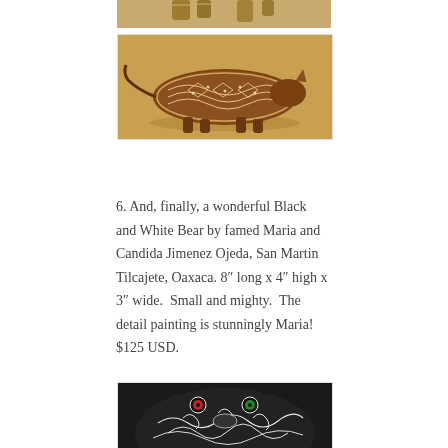[Figure (photo): Partial view of decorated folk art figurines on a wooden surface, showing feet/legs of animal figures from above]
[Figure (photo): A decorated folk art animal figurine (alebrije-style) with intricate brown and white painted patterns, lying on a wooden surface, viewed from the side]
6. And, finally, a wonderful Black and White Bear by famed Maria and Candida Jimenez Ojeda, San Martin Tilcajete, Oaxaca. 8” long x 4” high x 3” wide.  Small and mighty.  The detail painting is stunningly Maria! $125 USD.
[Figure (photo): Close-up of a black and white painted folk art bear figurine with intricate white scroll patterns, red and green gem eyes, photographed against dark background]